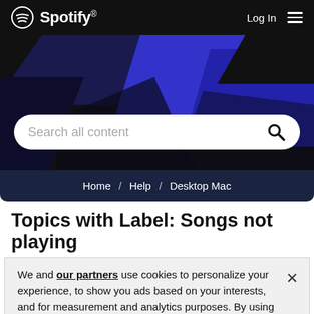[Figure (logo): Spotify logo with circular icon and wordmark on dark background header with Log In and hamburger menu]
[Figure (screenshot): Hero banner with dark background and blue geometric shapes, containing a search bar with placeholder 'Search all content' and a magnifying glass icon]
Home / Help / Desktop Mac
Topics with Label: Songs not playing
We and our partners use cookies to personalize your experience, to show you ads based on your interests, and for measurement and analytics purposes. By using our website and services, you agree to our use of cookies as described in our Cookie Policy.